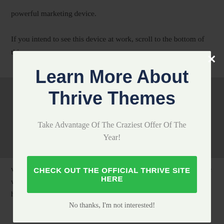powerful marketing device.
If you intend to see this device at work, scroll to the bottom of this
Learn More About Thrive Themes
Take Advantage Of The Craziest Offer Of The Year!
CHECK OUT THE OFFICIAL THRIVE SITE HERE
No thanks, I'm not interested!
various web page versions – the initial page, and also a second one where one aspect, such as the sales message or web page headline, has actually been transformed.